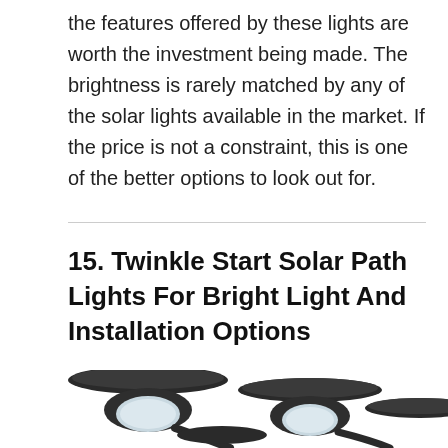the features offered by these lights are worth the investment being made. The brightness is rarely matched by any of the solar lights available in the market. If the price is not a constraint, this is one of the better options to look out for.
15. Twinkle Start Solar Path Lights For Bright Light And Installation Options
[Figure (photo): Photo of multiple black solar path lights with dome-shaped tops and curved stakes, shown from above at an angle. Three lights are visible, with white lens covers.]